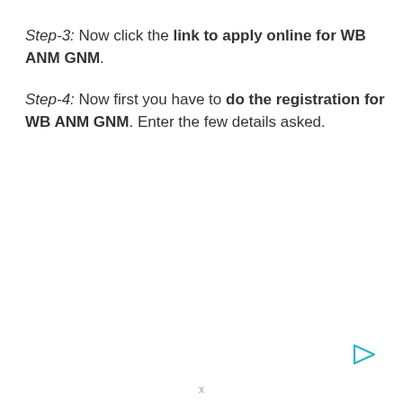Step-3: Now click the link to apply online for WB ANM GNM.
Step-4: Now first you have to do the registration for WB ANM GNM. Enter the few details asked.